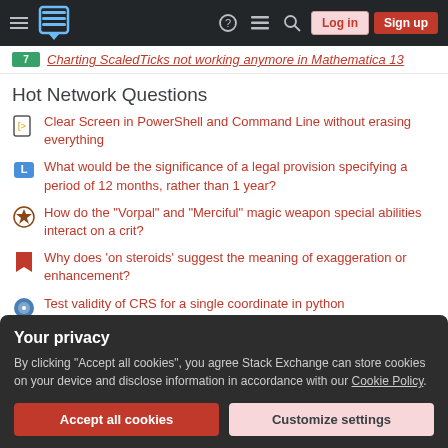Stack Exchange navigation bar with Log in and Sign up buttons
Charting ScaledTicks not working anymore in Mathematica 13
Hot Network Questions
Clear Screen in PowerShell and Command Line without erasing everything
What would be the significance of a legal provision specifying a period of 12 months, rather than 1 year?
How do the "Vorpal" and "Merciful" magic weapon special abilities interact on a crit?
Why does 'on steroids' suggest the meaning of exaggeration or enhancement?
Test validity of CRS for a single coordinate in python
Your privacy
By clicking "Accept all cookies", you agree Stack Exchange can store cookies on your device and disclose information in accordance with our Cookie Policy.
Accept all cookies   Customize settings